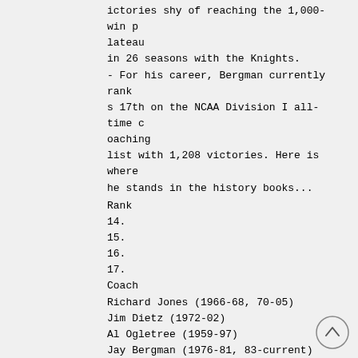ictories shy of reaching the 1,000-win plateau
in 26 seasons with the Knights.
- For his career, Bergman currently ranks 17th on the NCAA Division I all-time coaching
list with 1,208 victories. Here is where he stands in the history books...
| Rank | Coach | Career Victories |
| --- | --- | --- |
| 14. | Richard Jones (1966-68, 70-05) | 1,242 |
| 15. | Jim Dietz (1972-02) | 1,230 |
| 16. | Al Ogletree (1959-97) | 1,217 |
| 17. | Jay Bergman (1976-81, 83-current) | 1,208 |
Born: February 6, 1939